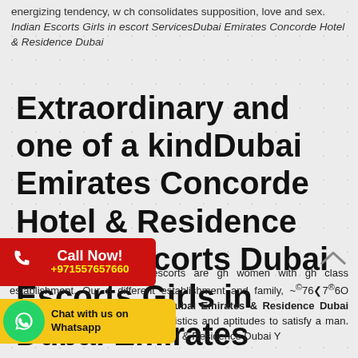energizing tendency, w ch consolidates supposition, love and sex. Indian Escorts Girls in escort ServicesDubai Emirates Concorde Hotel & Residence Dubai
Extraordinary and one of a kindDubai Emirates Concorde Hotel & Residence Dubai Escorts Dubai Escorts Girls in Dubai Emirates Concorde Hotel & Residence Dubai
®6O Our detestable Parle escorts are gh women with gh class establishment. Our n different establishment and family, ~©76❮7®6O Indian Escorts Agency escort Dubai Emirates & Residence Dubai anyway all have ardinary characteristics and aptitudes to satisfy a man. call i Dubai Emirates Concorde Hotel & Residence Dubai Y
[Figure (infographic): Call Now banner with phone icon, red background, text 'Call Now!' and number +971557657660 in yellow]
[Figure (infographic): Whatsapp chat banner with green circle WhatsApp logo, yellow background, text 'Chat with us on Whatsapp']